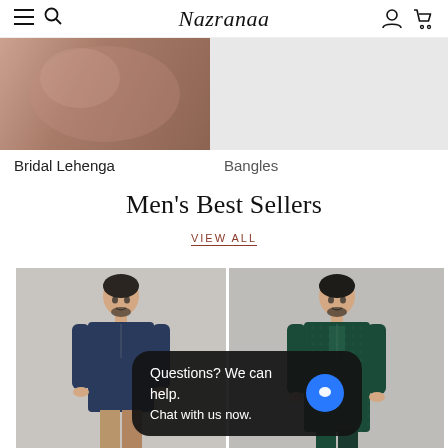Nazranaa
[Figure (photo): Bridal Lehenga product image - pink/rose embroidered garment on stone background]
Bridal Lehenga
[Figure (photo): Bangles product image - light grey placeholder]
Bangles
Men's Best Sellers
VIEW ALL
[Figure (photo): Man wearing navy blue kurta, standing against grey background]
[Figure (photo): Man wearing dark green embroidered kurta, standing against grey background]
Questions? We can help. Chat with us now.